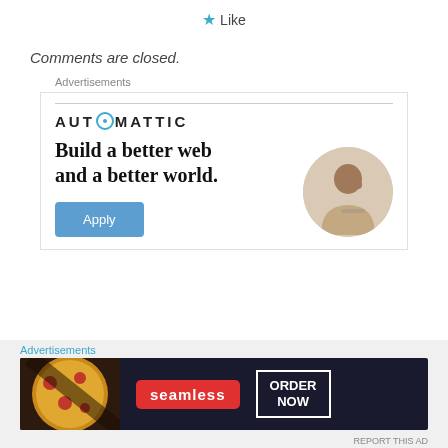★ Like
Comments are closed.
Advertisements
[Figure (infographic): Automattic advertisement showing logo, headline 'Build a better web and a better world.' with an Apply button and a circular photo of a man thinking]
Advertisements
[Figure (infographic): Seamless food delivery banner ad showing pizza image, seamless logo in red, and ORDER NOW call to action]